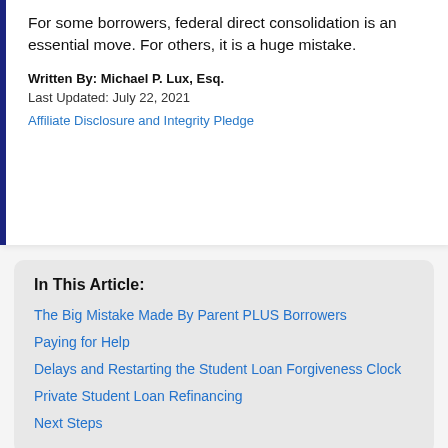For some borrowers, federal direct consolidation is an essential move. For others, it is a huge mistake.
Written By: Michael P. Lux, Esq.
Last Updated: July 22, 2021
Affiliate Disclosure and Integrity Pledge
In This Article:
The Big Mistake Made By Parent PLUS Borrowers
Paying for Help
Delays and Restarting the Student Loan Forgiveness Clock
Private Student Loan Refinancing
Next Steps